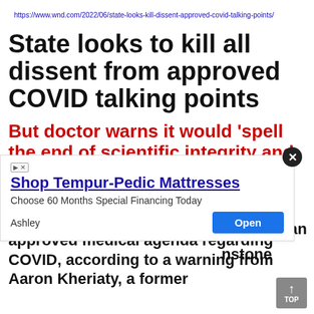https://www.wnd.com/2022/06/state-looks-kill-dissent-approved-covid-talking-points/
State looks to kill all dissent from approved COVID talking points
But doctor warns it would 'spell the end of scientific integrity and medical freedom'
California is threatening to punish any physician who dissents from the approved medical agenda regarding COVID, according to a warning from Aaron Kheriaty, a former [medicine and] [n]stone